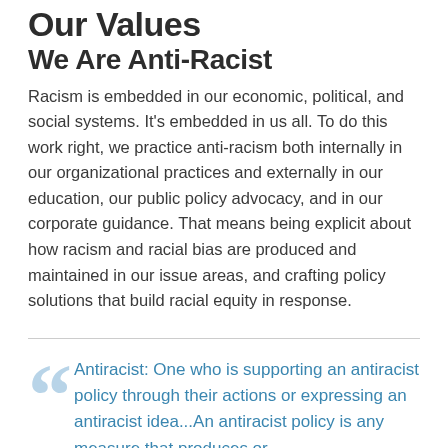Our Values
We Are Anti-Racist
Racism is embedded in our economic, political, and social systems. It’s embedded in us all. To do this work right, we practice anti-racism both internally in our organizational practices and externally in our education, our public policy advocacy, and in our corporate guidance. That means being explicit about how racism and racial bias are produced and maintained in our issue areas, and crafting policy solutions that build racial equity in response.
Antiracist: One who is supporting an antiracist policy through their actions or expressing an antiracist idea…An antiracist policy is any measure that produces or